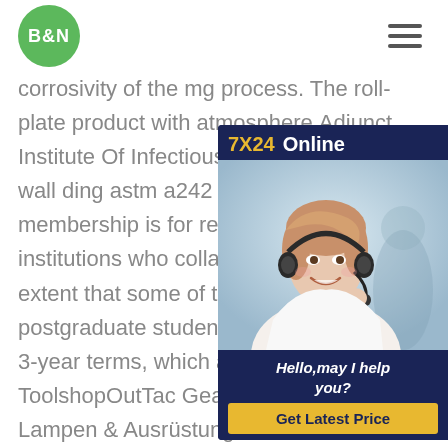B&N
corrosivity of the mg process. The roll-... plate product with atmosphere.Adjunct Institute Of Infectious Disease and wea... wall ding astm a242 a588 corten steel ... membership is for researchers employ... institutions who collaborate with IDM M... extent that some of their own staff and... postgraduate students may work within... 3-year terms, which are renewable.Al Mar Messer - ToolshopOutTac Gear GmbH - Messer, Tools, Lampen & Ausrüstung seit 1996 ! - 10% Neukundenrabatt
[Figure (illustration): Customer support advertisement panel with '7X24 Online' header, a photo of a woman with a headset, 'Hello,may I help you?' text, and a 'Get Latest Price' button]